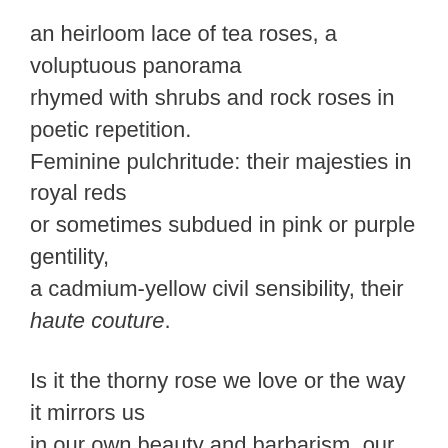an heirloom lace of tea roses, a voluptuous panorama rhymed with shrubs and rock roses in poetic repetition. Feminine pulchritude: their majesties in royal reds or sometimes subdued in pink or purple gentility, a cadmium-yellow civil sensibility, their haute couture.
Is it the thorny rose we love or the way it mirrors us in our own beauty and barbarism, our flow into decrepitude? They remind of our mortality with blooms, ebbs, and bows to destiny. A noble life, by fate transformed in season.
Divinely fulsome, that genus Rosa, sun-lighted, confluent...